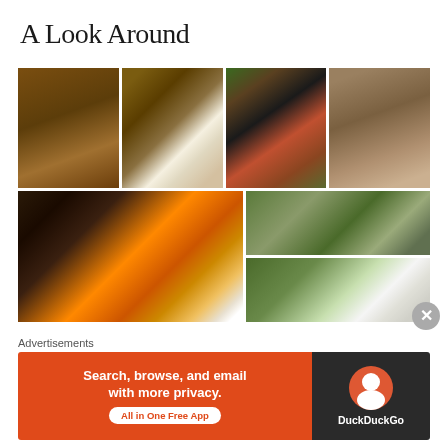A Look Around
[Figure (photo): Grid of farm animal photos: horse, chicken, alpacas, close-up alpaca face, llama with fire background, baby birds in grass, white fluffy animal on grass]
Advertisements
[Figure (screenshot): DuckDuckGo advertisement banner: orange left panel with text 'Search, browse, and email with more privacy. All in One Free App', dark right panel with DuckDuckGo logo and name]